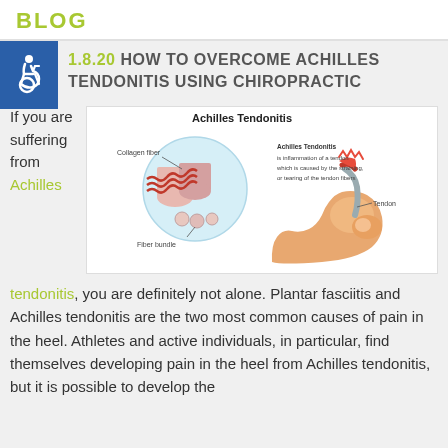BLOG
1.8.20 HOW TO OVERCOME ACHILLES TENDONITIS USING CHIROPRACTIC
If you are suffering from Achilles
[Figure (illustration): Medical diagram of Achilles Tendonitis showing a cross-section of collagen fibers, fiber bundle, and tendon alongside an anatomical illustration of a human foot/heel highlighting the Achilles tendon area in red. Labels include: Achilles Tendonitis, Collagen fiber, Fiber bundle, Tendon, and text reading 'Achilles Tendonitis is inflammation of a tendon which is caused by the straining, or tearing of the tendon fibers']
tendonitis, you are definitely not alone. Plantar fasciitis and Achilles tendonitis are the two most common causes of pain in the heel. Athletes and active individuals, in particular, find themselves developing pain in the heel from Achilles tendonitis, but it is possible to develop the